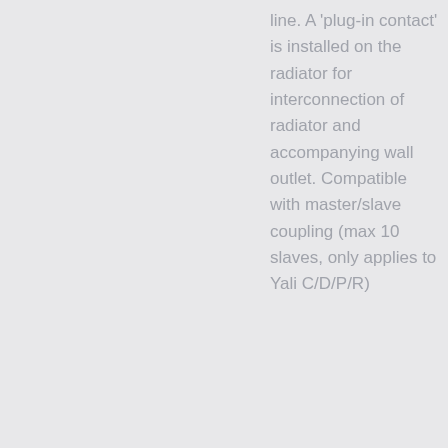line. A 'plug-in contact' is installed on the radiator for interconnection of radiator and accompanying wall outlet. Compatible with master/slave coupling (max 10 slaves, only applies to Yali C/D/P/R)